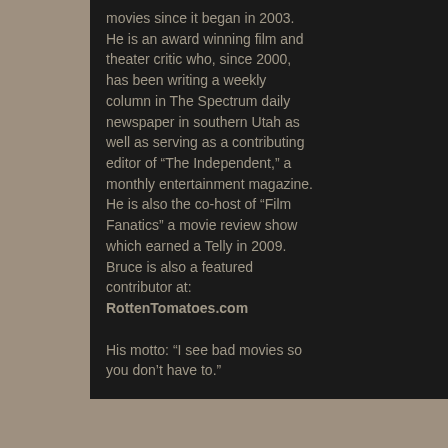movies since it began in 2003. He is an award winning film and theater critic who, since 2000, has been writing a weekly column in The Spectrum daily newspaper in southern Utah as well as serving as a contributing editor of "The Independent," a monthly entertainment magazine. He is also the co-host of "Film Fanatics" a movie review show which earned a Telly in 2009. Bruce is also a featured contributor at: RottenTomatoes.com

His motto: "I see bad movies so you don't have to."
down and leaves no c... on a civilization fueled... may be everything Mo... for the average film fa...
It should be noted tha... part due to his loathing... the big screen treatme... "Constantine," and "Th... projects all-Moore has... Vendetta" seems to ha... success).
The failure of "Watchm... director Zach Snyder, ... out, because his passi... attention to detail and ... alternate 1985 and be... are fascinating to watc...
What little plot there is... once banned, who reu... member, the ink-blotti... film's most interesting...